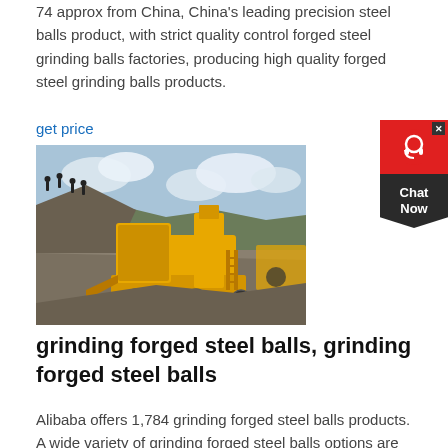74 approx from China, China's leading precision steel balls product, with strict quality control forged steel grinding balls factories, producing high quality forged steel grinding balls products.
get price
[Figure (photo): Yellow mobile crushing/grinding machine at a mining or quarry site, with rocky terrain, gravel piles, and people standing on top of a mound in the background under a cloudy sky.]
grinding forged steel balls, grinding forged steel balls
Alibaba offers 1,784 grinding forged steel balls products. A wide variety of grinding forged steel balls options are available to